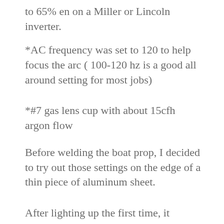to 65% en on a Miller or Lincoln inverter.
*AC frequency was set to 120 to help focus the arc ( 100-120 hz is a good all around setting for most jobs)
*#7 gas lens cup with about 15cfh argon flow
Before welding the boat prop, I decided to try out those settings on the edge of a thin piece of aluminum sheet.
After lighting up the first time, it seemed a bit hot on start so I went into the background menu and